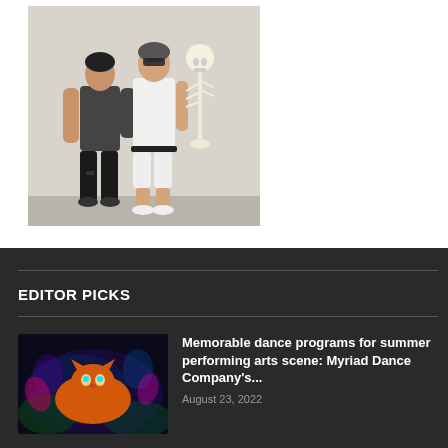[Figure (photo): Two people standing against a white wall next to a skeleton model. Left person wearing dark sleeveless top and black ripped pants. Right person wearing white tank top, white shorts, belt, and sunglasses holding a skeleton prop.]
EDITOR PICKS
[Figure (photo): Colorful neon-lit image of a tiger with vibrant blue and purple hues in a dark scene.]
Memorable dance programs for summer performing arts scene: Myriad Dance Company's...
August 23, 2022